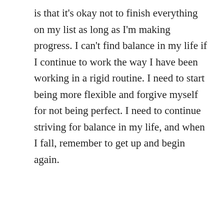is that it's okay not to finish everything on my list as long as I'm making progress. I can't find balance in my life if I continue to work the way I have been working in a rigid routine. I need to start being more flexible and forgive myself for not being perfect. I need to continue striving for balance in my life, and when I fall, remember to get up and begin again.
musingono51   Coffee Klatch   Leave a comment   June 15, 2020   2 Minutes
Coffee Klatch